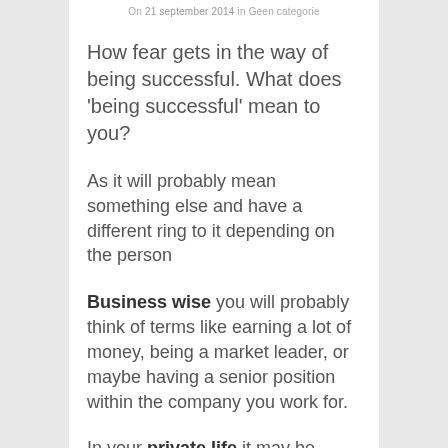On 21 september 2014 in Geen categorie
How fear gets in the way of being successful. What does 'being successful' mean to you?
As it will probably mean something else and have a different ring to it depending on the person
Business wise you will probably think of terms like earning a lot of money, being a market leader, or maybe having a senior position within the company you work for.
In your private life it may be something completely different. Being happy for instance or